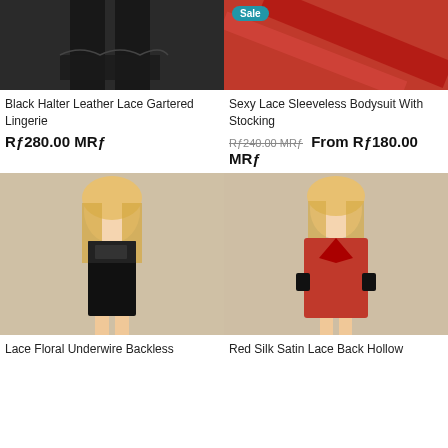[Figure (photo): Model wearing black halter leather lace gartered lingerie, upper portion of image]
[Figure (photo): Red lingerie bodysuit with stocking, Sale badge overlay, upper portion cropped]
Black Halter Leather Lace Gartered Lingerie
Rƒ280.00 MRƒ
Sexy Lace Sleeveless Bodysuit With Stocking
Rƒ240.00 MRƒ  From Rƒ180.00 MRƒ
[Figure (photo): Model wearing black lace floral underwire backless lingerie dress, full body shot]
[Figure (photo): Model wearing red silk satin lace back hollow robe, full body shot]
Lace Floral Underwire Backless
Red Silk Satin Lace Back Hollow